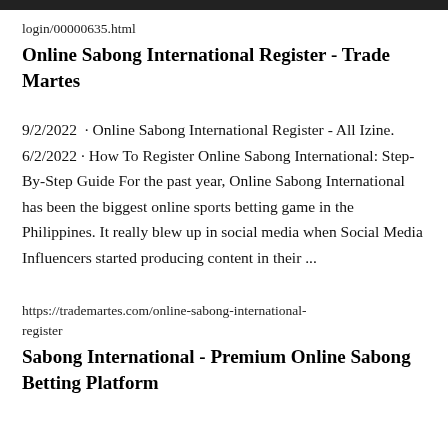login/00000635.html
Online Sabong International Register - Trade Martes
9/2/2022  · Online Sabong International Register - All Izine. 6/2/2022 · How To Register Online Sabong International: Step-By-Step Guide For the past year, Online Sabong International has been the biggest online sports betting game in the Philippines. It really blew up in social media when Social Media Influencers started producing content in their ...
https://trademartes.com/online-sabong-international-register
Sabong International - Premium Online Sabong Betting Platform